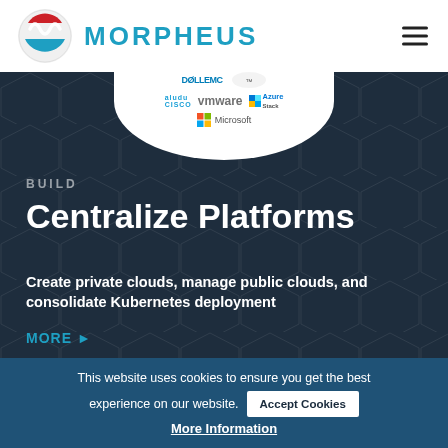[Figure (logo): Morpheus logo: circular icon with red/white/blue wave design and company name MORPHEUS in teal/blue text]
[Figure (illustration): White circular/oval shape showing partner logos: Dell EMC, VMware, Azure Stack, Cisco, Microsoft on a dark navy geometric patterned background]
BUILD
Centralize Platforms
Create private clouds, manage public clouds, and consolidate Kubernetes deployment
MORE ▶
This website uses cookies to ensure you get the best experience on our website.
Accept Cookies
More Information